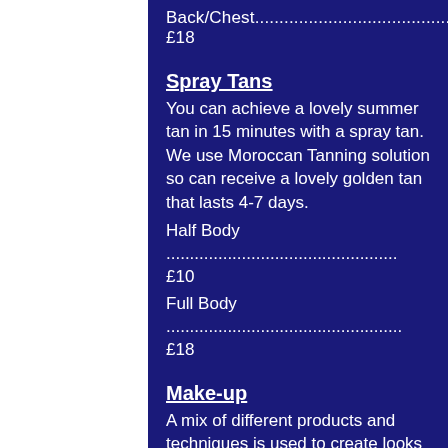Back/Chest............................................. £18
Spray Tans
You can achieve a lovely summer tan in 15 minutes with a spray tan. We use Moroccan Tanning solution so can receive a lovely golden tan that lasts 4-7 days.
Half Body ................................................ £10
Full Body ................................................. £18
Make-up
A mix of different products and techniques is used to create looks and give you that natural look for your big day.
Cleanse & Make-up ................................ £20
Bridal Make-up inc. trial ..................... £65